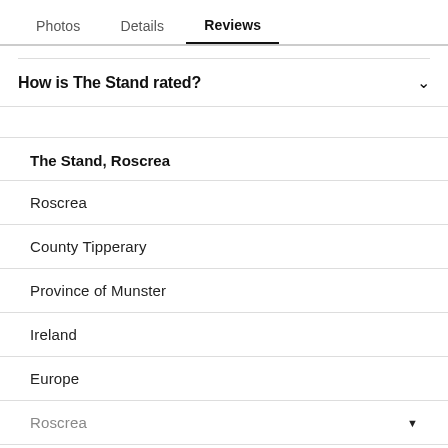Photos  Details  Reviews
How is The Stand rated?
The Stand, Roscrea
Roscrea
County Tipperary
Province of Munster
Ireland
Europe
Roscrea